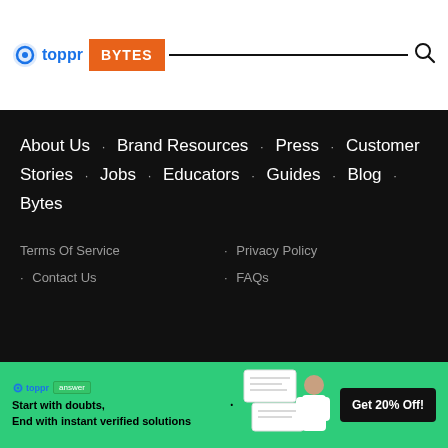[Figure (logo): Toppr Bytes logo with search bar header]
About Us · Brand Resources · Press · Customer Stories · Jobs · Educators · Guides · Blog · Bytes
Terms Of Service · Privacy Policy · Contact Us · FAQs
[Figure (infographic): Toppr Answer banner: Start with doubts, End with instant verified solutions. Get 20% Off!]